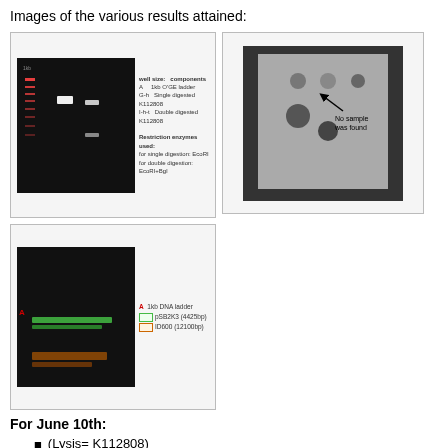Images of the various results attained:
[Figure (photo): Gel electrophoresis image showing DNA bands with legend: A = 1kb O'GE ladder, G-h = Single digested K112808, I-h-t = Double digested K112808. Restrictions enzymes used: for single digestion: EcoRI; for double digestion: EcoRI+Bgl]
[Figure (photo): Dot blot membrane image on dark background with annotation arrow pointing to spot labeled 'No sample was found']
[Figure (photo): Gel electrophoresis image with legend: A = 1kb DNA ladder; pSB2K3 (4425bp); ID600 (12100bp)]
For June 10th:
(Lysis= K112808)